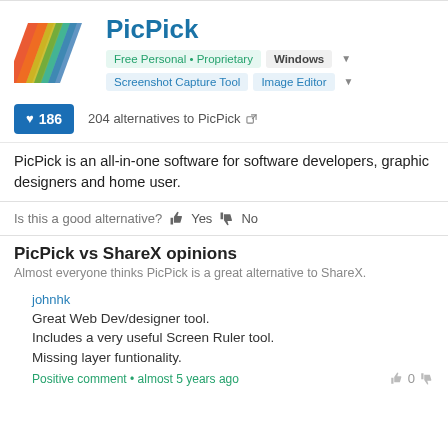[Figure (logo): PicPick app logo with colorful diagonal stripes]
PicPick
Free Personal • Proprietary  Windows
Screenshot Capture Tool  Image Editor
♥ 186
204 alternatives to PicPick
PicPick is an all-in-one software for software developers, graphic designers and home user.
Is this a good alternative? Yes No
PicPick vs ShareX opinions
Almost everyone thinks PicPick is a great alternative to ShareX.
johnhk
Great Web Dev/designer tool.
Includes a very useful Screen Ruler tool.
Missing layer funtionality.
Positive comment • almost 5 years ago